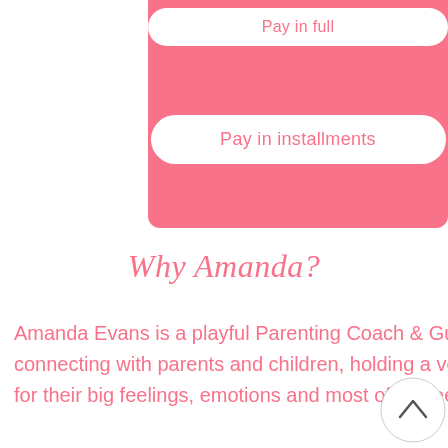[Figure (screenshot): Pink rounded button labeled 'Pay in full' on pink background]
[Figure (screenshot): Pink rounded button labeled 'Pay in installments' on pink background]
Why Amanda?
Amanda Evans is a playful Parenting Coach & Guide who enjoys spending time connecting with parents and children, holding a very safe & compassionate space for their big feelings, emotions and most of all deepest desires and BIGGEST